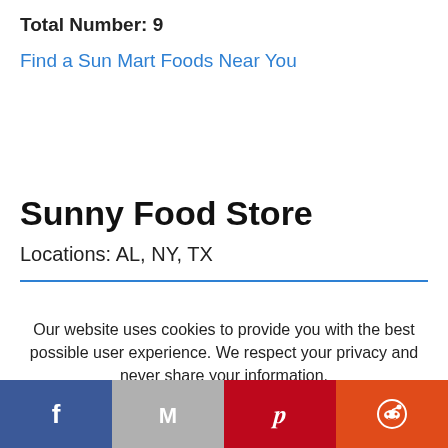Total Number: 9
Find a Sun Mart Foods Near You
Sunny Food Store
Locations: AL, NY, TX
Our website uses cookies to provide you with the best possible user experience. We respect your privacy and never share your information.
Learn More | Accept
[Figure (other): Social share buttons: Facebook, Gmail, Pinterest, Reddit]